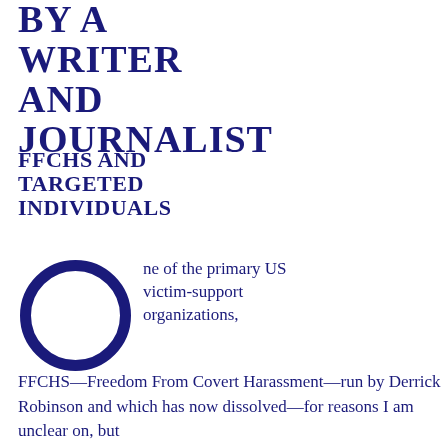BY A WRITER AND JOURNALIST
FFCHS AND TARGETED INDIVIDUALS
One of the primary US victim-support organizations, FFCHS—Freedom From Covert Harassment—run by Derrick Robinson and which has now dissolved—for reasons I am unclear on, but